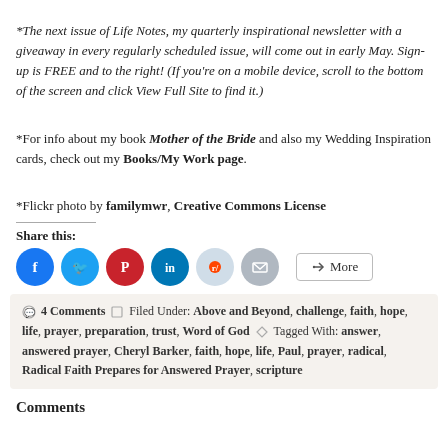*The next issue of Life Notes, my quarterly inspirational newsletter with a giveaway in every regularly scheduled issue, will come out in early May. Sign-up is FREE and to the right! (If you're on a mobile device, scroll to the bottom of the screen and click View Full Site to find it.)
*For info about my book Mother of the Bride and also my Wedding Inspiration cards, check out my Books/My Work page.
*Flickr photo by familymwr, Creative Commons License
Share this:
[Figure (infographic): Social sharing icons: Facebook (blue circle), Twitter (blue circle), Pinterest (red circle), LinkedIn (blue circle), Reddit (light blue circle), Email (gray circle), and a More button]
4 Comments Filed Under: Above and Beyond, challenge, faith, hope, life, prayer, preparation, trust, Word of God Tagged With: answer, answered prayer, Cheryl Barker, faith, hope, life, Paul, prayer, radical, Radical Faith Prepares for Answered Prayer, scripture
Comments